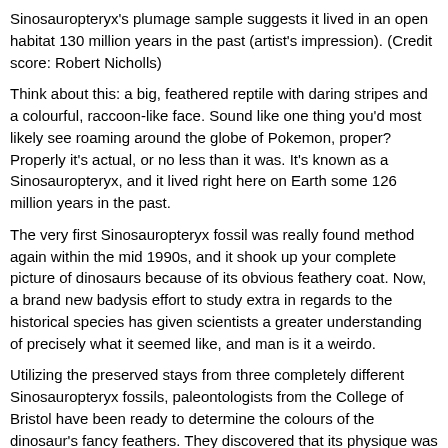Sinosauropteryx's plumage sample suggests it lived in an open habitat 130 million years in the past (artist's impression). (Credit score: Robert Nicholls)
Think about this: a big, feathered reptile with daring stripes and a colourful, raccoon-like face. Sound like one thing you'd most likely see roaming around the globe of Pokemon, proper? Properly it's actual, or no less than it was. It's known as a Sinosauropteryx, and it lived right here on Earth some 126 million years in the past.
The very first Sinosauropteryx fossil was really found method again within the mid 1990s, and it shook up your complete picture of dinosaurs because of its obvious feathery coat. Now, a brand new badysis effort to study extra in regards to the historical species has given scientists a greater understanding of precisely what it seemed like, and man is it a weirdo.
Utilizing the preserved stays from three completely different Sinosauropteryx fossils, paleontologists from the College of Bristol have been ready to determine the colours of the dinosaur's fancy feathers. They discovered that its physique was a lightweight amber coloration, with lighter, off-